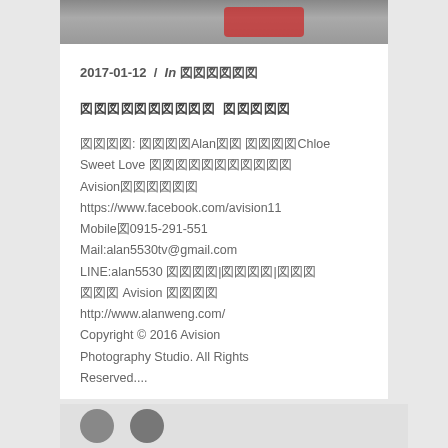[Figure (photo): Top photo strip showing a partially visible wedding/portrait photo with red accent]
2017-01-12 / In 婚紗婚禮攝影
婚紗婚禮攝影作品 最新消息
攝影師: 幸福Alan幸幸 幸幸幸Chloe Sweet Love 幸幸幸幸幸幸幸幸幸幸幸
Avision幸幸幸幸幸幸
https://www.facebook.com/avision11
Mobile幸0915-291-551
Mail:alan5530tv@gmail.com
LINE:alan5530 幸幸幸幸|幸幸幸幸|幸幸幸
幸幸幸 Avision 幸幸幸幸
http://www.alanweng.com/
Copyright © 2016 Avision Photography Studio. All Rights Reserved....